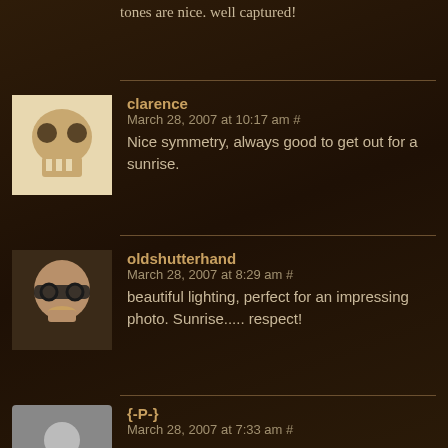tones are nice. well captured!
clarence
March 28, 2007 at 10:17 am #
Nice symmetry, always good to get out for a sunrise.
oldshutterhand
March 28, 2007 at 8:29 am #
beautiful lighting, perfect for an impressing photo. Sunrise..... respect!
{-P-}
March 28, 2007 at 7:33 am #